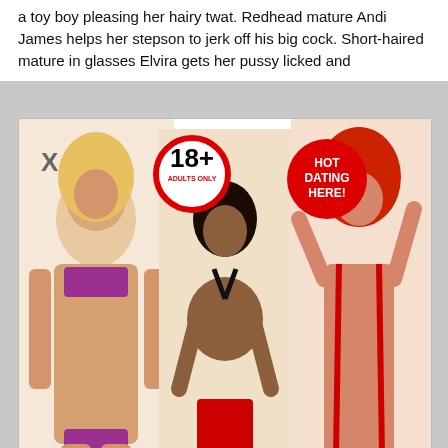a toy boy pleasing her hairy twat. Redhead mature Andi James helps her stepson to jerk off his big cock. Short-haired mature in glasses Elvira gets her pussy licked and
[Figure (advertisement): Adult dating popup advertisement with three women models, 18+ badge, HOT DATING HERE badge, and CLICK HERE TO REGISTER button]
[Figure (advertisement): Adult dating bottom banner with two women models, red italic text 'In your area today and have sex tonight!', JOIN NOW button, and REGISTER button]